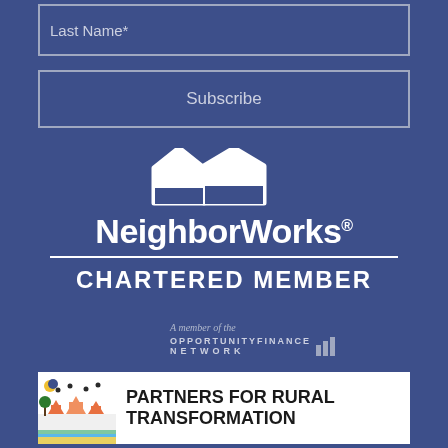Last Name*
Subscribe
[Figure (logo): NeighborWorks Chartered Member logo — two white house roof outlines above the text NeighborWorks® with a horizontal white divider and CHARTERED MEMBER in bold white capital letters below]
[Figure (logo): A member of the Opportunity Finance Network badge with bar chart icon]
[Figure (logo): Partners for Rural Transformation banner with colorful illustration of houses and nature on left and bold text on right]